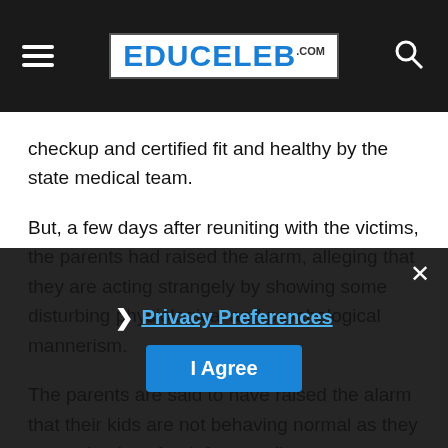EDUCELEB.COM
checkup and certified fit and healthy by the state medical team.
But, a few days after reuniting with the victims, the parents had raised the alarm, alleging that they are acting strangely by showing some disturbing physiological and psychological mannerism.
The parents are said to have raised the alarm that their kids are not behaving normal as they are eating less food, feet swollen, malnourished and withdrawn.
Disturbed and afraid over the wellbeing of their children, they cried out, especially having heard from some of the kids on what they experienced during their long stay with the bandits
Privacy Preferences  I Agree